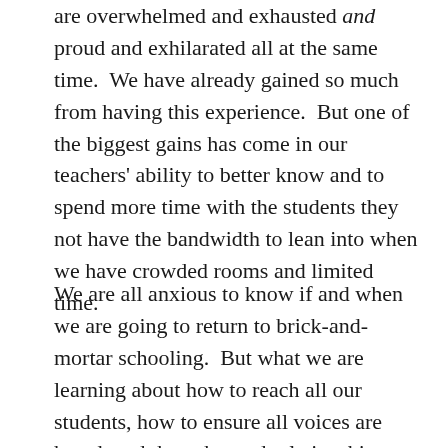are overwhelmed and exhausted and proud and exhilarated all at the same time.  We have already gained so much from having this experience.  But one of the biggest gains has come in our teachers' ability to better know and to spend more time with the students they not have the bandwidth to lean into when we have crowded rooms and limited time.
We are all anxious to know if and when we are going to return to brick-and-mortar schooling.  But what we are learning about how to reach all our students, how to ensure all voices are heard, and the enhanced relationships that come as a result of new methods – all of that has to come with us when we do return.  If we